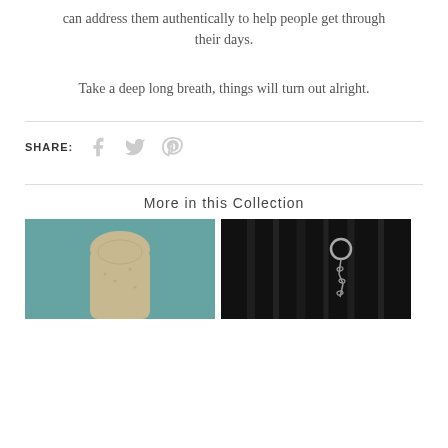can address them authentically to help people get through their days.
Take a deep long breath, things will turn out alright.
SHARE:
More in this Collection
[Figure (photo): A mannequin torso with a light-colored neckline against a teal background]
[Figure (photo): A dark folded fabric with a metal ring and chain against a black background]